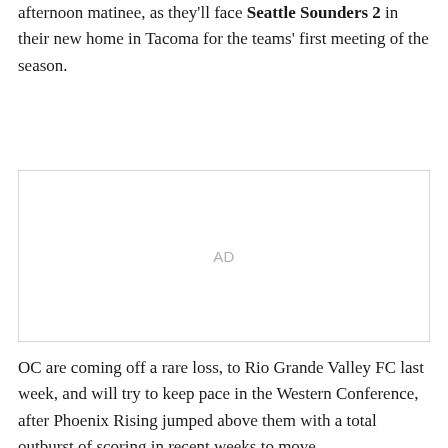afternoon matinee, as they'll face Seattle Sounders 2 in their new home in Tacoma for the teams' first meeting of the season.
[Figure (other): Advertisement placeholder block labeled 'AD']
OC are coming off a rare loss, to Rio Grande Valley FC last week, and will try to keep pace in the Western Conference, after Phoenix Rising jumped above them with a total outburst of scoring in recent weeks to move